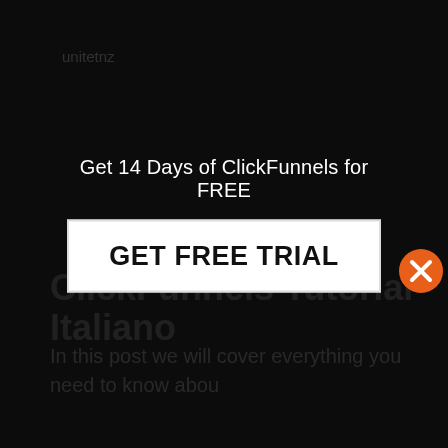unitetnz
ClickFunnels Tutorial Italiano
In this post we will cover everything you need to know abou
I've got some good news: ClickFunnels does its job!
ClickFunnels is intended to save you time and energy-to do what otherwise requires a lot of technological proficiency and/or an array of third
[Figure (screenshot): Popup modal overlay with white background showing text 'Get 14 Days of ClickFunnels for FREE' and a white button labeled 'GET FREE TRIAL', with an orange X close button in the top-right corner]